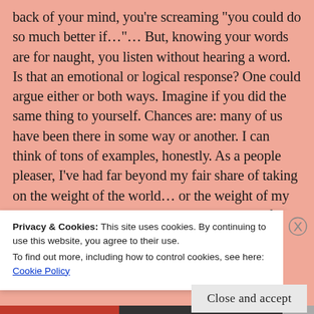back of your mind, you’re screaming “you could do so much better if…”… But, knowing your words are for naught, you listen without hearing a word. Is that an emotional or logical response? One could argue either or both ways. Imagine if you did the same thing to yourself. Chances are: many of us have been there in some way or another. I can think of tons of examples, honestly. As a people pleaser, I’ve had far beyond my fair share of taking on the weight of the world… or the weight of my acquaintances in the world. The biggest ones for me, perhaps, surface in relationships, both romantic and non. With friends and some family, I have h
Privacy & Cookies: This site uses cookies. By continuing to use this website, you agree to their use.
To find out more, including how to control cookies, see here: Cookie Policy
Close and accept